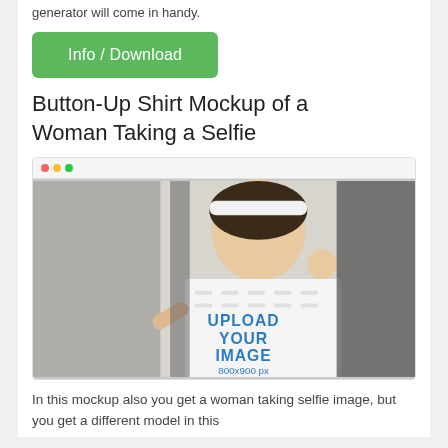generator will come in handy.
[Figure (other): Green 'Info / Download' button]
Button-Up Shirt Mockup of a Woman Taking a Selfie
[Figure (screenshot): Browser window screenshot showing a mockup of a woman taking a selfie wearing a button-up shirt with 'UPLOAD YOUR IMAGE 800x900 px' placeholder text overlay]
In this mockup also you get a woman taking selfie image, but you get a different model in this